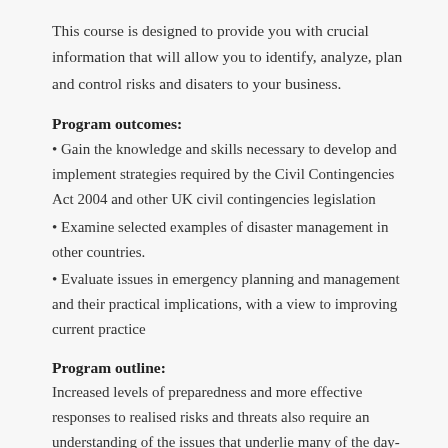This course is designed to provide you with crucial information that will allow you to identify, analyze, plan and control risks and disaters to your business.
Program outcomes:
• Gain the knowledge and skills necessary to develop and implement strategies required by the Civil Contingencies Act 2004 and other UK civil contingencies legislation
• Examine selected examples of disaster management in other countries.
• Evaluate issues in emergency planning and management and their practical implications, with a view to improving current practice
Program outline:
Increased levels of preparedness and more effective responses to realised risks and threats also require an understanding of the issues that underlie many of the day-